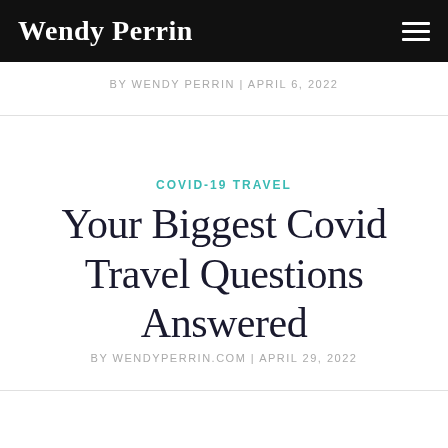Wendy Perrin
BY WENDY PERRIN | APRIL 6, 2022
COVID-19 TRAVEL
Your Biggest Covid Travel Questions Answered
BY WENDYPERRIN.COM | APRIL 29, 2022